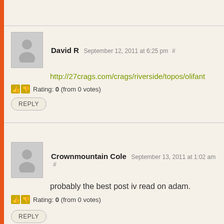David R September 12, 2011 at 6:25 pm #
http://27crags.com/crags/riverside/topos/olifant
Rating: 0 (from 0 votes)
REPLY
Crownmountain Cole September 13, 2011 at 1:02 am #
probably the best post iv read on adam.
Rating: 0 (from 0 votes)